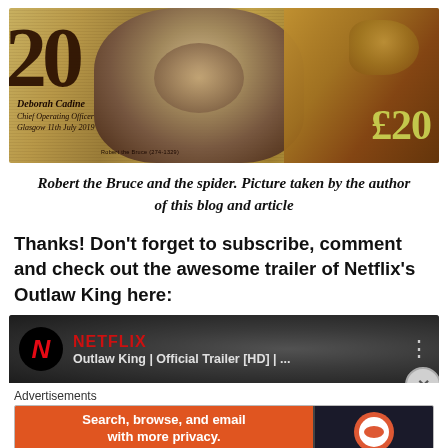[Figure (photo): A Scottish £20 banknote featuring Robert the Bruce portrait and a spider motif on the right side, with the number 20 on the left and £20 in olive/green text on the right.]
Robert the Bruce and the spider. Picture taken by the author of this blog and article
Thanks! Don't forget to subscribe, comment and check out the awesome trailer of Netflix's Outlaw King here:
[Figure (screenshot): YouTube video thumbnail for 'Outlaw King | Official Trailer [HD] | ...' with Netflix branding. Red N logo in black circle on left, title text in white on dark background, three-dot menu on right.]
Advertisements
[Figure (screenshot): DuckDuckGo advertisement banner: left orange section reads 'Search, browse, and email with more privacy. All in One Free App', right dark section shows DuckDuckGo logo and brand name.]